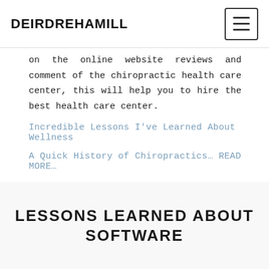DEIRDREHAMILL
on the online website reviews and comment of the chiropractic health care center, this will help you to hire the best health care center.
Incredible Lessons I've Learned About Wellness
A Quick History of Chiropractics... READ MORE...
LESSONS LEARNED ABOUT SOFTWARE